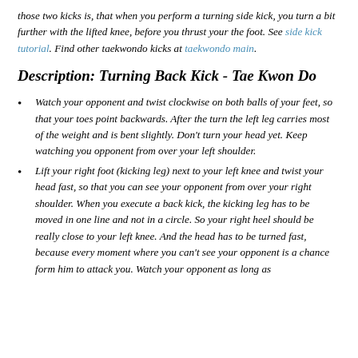those two kicks is, that when you perform a turning side kick, you turn a bit further with the lifted knee, before you thrust your the foot. See side kick tutorial. Find other taekwondo kicks at taekwondo main.
Description: Turning Back Kick - Tae Kwon Do
Watch your opponent and twist clockwise on both balls of your feet, so that your toes point backwards. After the turn the left leg carries most of the weight and is bent slightly. Don't turn your head yet. Keep watching you opponent from over your left shoulder.
Lift your right foot (kicking leg) next to your left knee and twist your head fast, so that you can see your opponent from over your right shoulder. When you execute a back kick, the kicking leg has to be moved in one line and not in a circle. So your right heel should be really close to your left knee. And the head has to be turned fast, because every moment where you can't see your opponent is a chance form him to attack you. Watch your opponent as long as